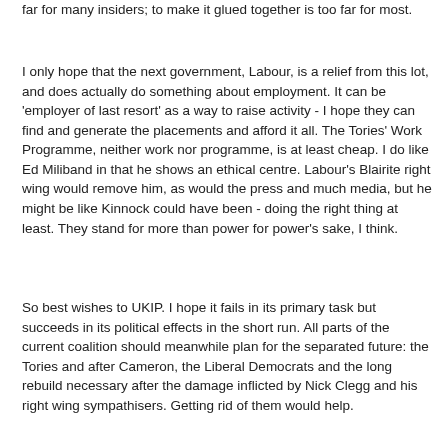far for many insiders; to make it glued together is too far for most.
I only hope that the next government, Labour, is a relief from this lot, and does actually do something about employment. It can be 'employer of last resort' as a way to raise activity - I hope they can find and generate the placements and afford it all. The Tories' Work Programme, neither work nor programme, is at least cheap. I do like Ed Miliband in that he shows an ethical centre. Labour's Blairite right wing would remove him, as would the press and much media, but he might be like Kinnock could have been - doing the right thing at least. They stand for more than power for power's sake, I think.
So best wishes to UKIP. I hope it fails in its primary task but succeeds in its political effects in the short run. All parts of the current coalition should meanwhile plan for the separated future: the Tories and after Cameron, the Liberal Democrats and the long rebuild necessary after the damage inflicted by Nick Clegg and his right wing sympathisers. Getting rid of them would help.